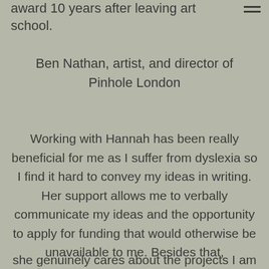award 10 years after leaving art school.
Ben Nathan, artist, and director of Pinhole London
Working with Hannah has been really beneficial for me as I suffer from dyslexia so I find it hard to convey my ideas in writing. Her support allows me to verbally communicate my ideas and the opportunity to apply for funding that would otherwise be unavailable to me. Besides that,
she genuinely cares about the projects I am